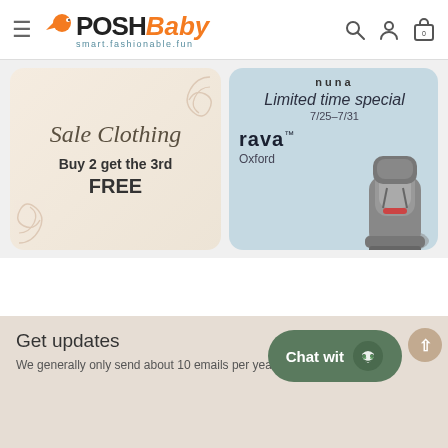PoshBaby — smart.fashionable.fun
[Figure (illustration): Sale Clothing promotional banner: 'Sale Clothing — Buy 2 get the 3rd FREE' with decorative swirl lines on beige/cream background]
[Figure (illustration): Nuna brand limited time special 7/25-7/31 for rava Oxford car seat — light blue background with grey car seat photo]
Get updates
We generally only send about 10 emails per year. We promise!